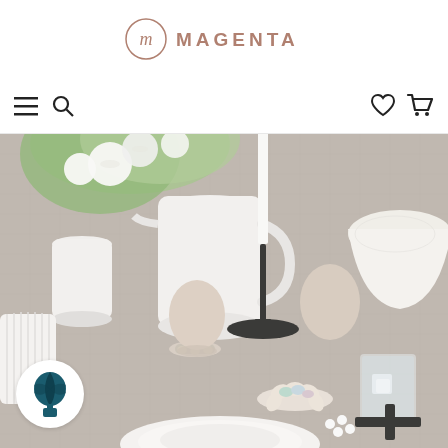MAGENTA
[Figure (logo): Magenta brand logo with stylized M in a circle and MAGENTA wordmark in brown/mauve text]
[Figure (photo): Overhead view of an elegant Easter table setting with white ceramic pitchers holding white flowers with green leaves, a black metal candle holder with white candle, beige eggs on small ceramic egg cups, small ceramic dishes with pastel candy eggs, a glass with water and lemon, white textured bowl, a white ribbed vase, and a coaster, all on a grey linen tablecloth]
[Figure (logo): Hot air balloon icon badge in teal/dark teal color inside a white circle]